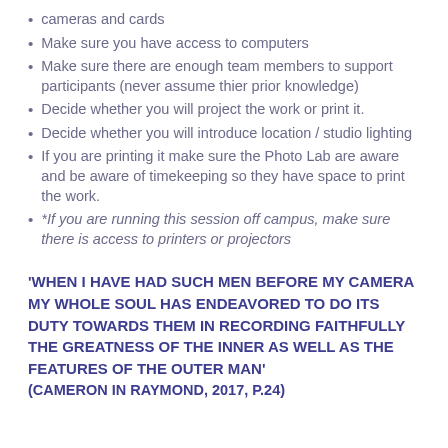cameras and cards
Make sure you have access to computers
Make sure there are enough team members to support participants (never assume thier prior knowledge)
Decide whether you will project the work or print it.
Decide whether you will introduce location / studio lighting
If you are printing it make sure the Photo Lab are aware and be aware of timekeeping so they have space to print the work.
*If you are running this session off campus, make sure there is access to printers or projectors
'WHEN I HAVE HAD SUCH MEN BEFORE MY CAMERA MY WHOLE SOUL HAS ENDEAVORED TO DO ITS DUTY TOWARDS THEM IN RECORDING FAITHFULLY THE GREATNESS OF THE INNER AS WELL AS THE FEATURES OF THE OUTER MAN' (CAMERON IN RAYMOND, 2017, P.24)